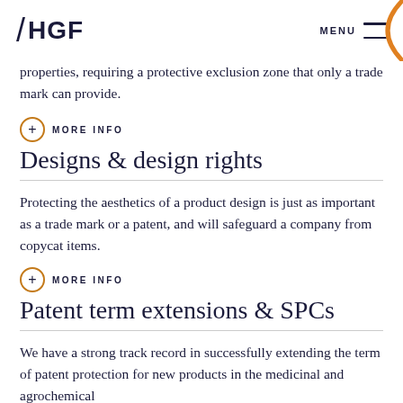HGF | MENU
properties, requiring a protective exclusion zone that only a trade mark can provide.
MORE INFO
Designs & design rights
Protecting the aesthetics of a product design is just as important as a trade mark or a patent, and will safeguard a company from copycat items.
MORE INFO
Patent term extensions & SPCs
We have a strong track record in successfully extending the term of patent protection for new products in the medicinal and agrochemical